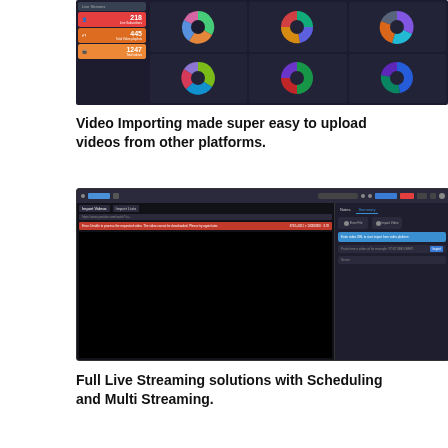[Figure (screenshot): Dark dashboard UI with statistics cards on the left showing numbers 218, 445, 1247 and multiple donut/pie charts on the right panel]
Video Importing made super easy to upload videos from other platforms.
[Figure (screenshot): Dark video platform interface showing a video import dialog with URL input, progress bar, and options panel on the right with blue action button]
Full Live Streaming solutions with Scheduling and Multi Streaming.